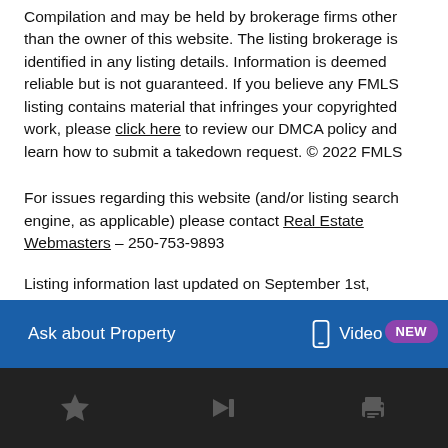Compilation and may be held by brokerage firms other than the owner of this website. The listing brokerage is identified in any listing details. Information is deemed reliable but is not guaranteed. If you believe any FMLS listing contains material that infringes your copyrighted work, please click here to review our DMCA policy and learn how to submit a takedown request. © 2022 FMLS
For issues regarding this website (and/or listing search engine, as applicable) please contact Real Estate Webmasters – 250-753-9893
Listing information last updated on September 1st,
Ask about Property   Video Tour   NEW